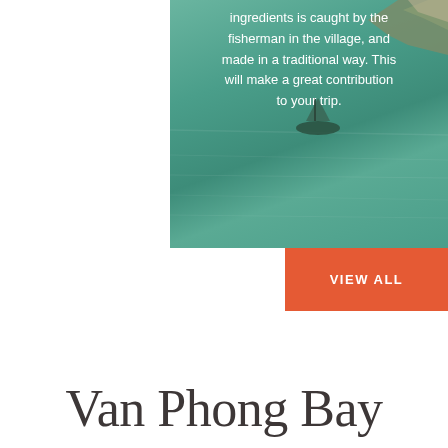[Figure (photo): Aerial or elevated photo of teal/green water (bay or sea) with a small boat visible and rocky coastline in upper right corner. White overlay text reads: 'ingredients is caught by the fisherman in the village, and made in a traditional way. This will make a great contribution to your trip.' Two pagination dots (white filled and gray) are visible at the bottom of the image area.]
VIEW ALL
Van Phong Bay